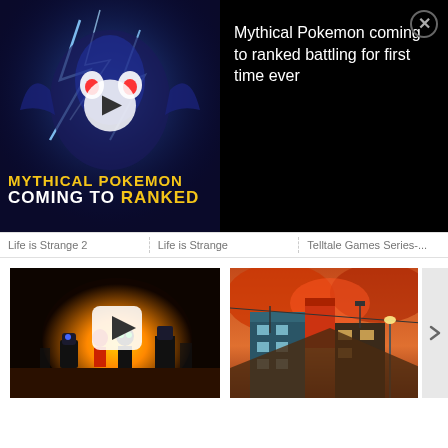[Figure (screenshot): Video ad overlay with Pokemon battle scene thumbnail on left showing blue electric Pokemon with lightning, play button, and text 'MYTHICAL POKEMON COMING TO RANKED' in yellow/white. Right panel shows black background with white text 'Mythical Pokemon coming to ranked battling for first time ever' and an X close button.]
Life is Strange 2 | Life is Strange | Telltale Games Series-...
[Figure (screenshot): Video thumbnail showing Night in the Woods style cartoon characters silhouetted against a warm orange glowing background, with a YouTube play button overlay.]
[Figure (screenshot): Video thumbnail showing an autumn city scene with red/orange foliage, urban buildings with teal accents, power lines, and warm lighting.]